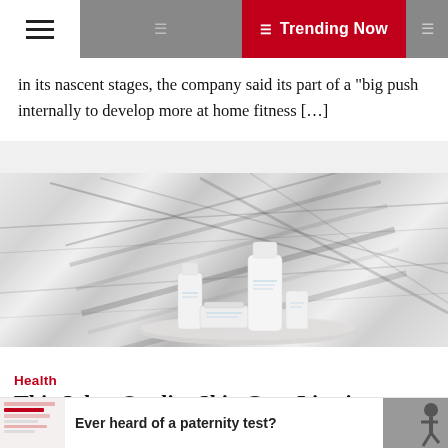☰  Trending Now
in its nascent stages, the company said its part of a "big push internally to develop more at home fitness […]
[Figure (photo): Skincare product bottles and jar arranged on an oval tray against a marble background]
Health
This Salon-Quality Skin Care Line is Affordable and Effective
frank lampard  🕐 2 years ago
Ever heard of a paternity test?